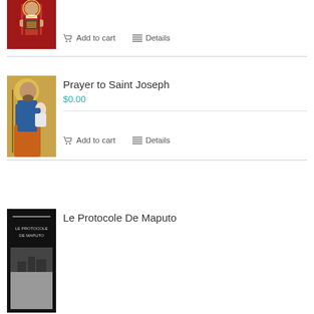[Figure (illustration): Religious icon showing figure in red robes holding a book, Byzantine style]
Add to cart   Details
[Figure (illustration): Religious icon of Saint Joseph in blue robes holding the Christ child]
Prayer to Saint Joseph
$0.00
Add to cart   Details
[Figure (illustration): Book cover: Le Protocole De Maputo, dark cover with image]
Le Protocole De Maputo